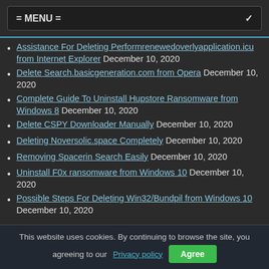= MENU =
Assistance For Deleting Performrenewedoverlyapplication.icu from Internet Explorer December 10, 2020
Delete Search.basicgeneration.com from Opera December 10, 2020
Complete Guide To Uninstall Hupstore Ransomware from Windows 8 December 10, 2020
Delete CSPY Downloader Manually December 10, 2020
Deleting Noversolic.space Completely December 10, 2020
Removing Spacerin Search Easily December 10, 2020
Uninstall F0x ransomware from Windows 10 December 10, 2020
Possible Steps For Deleting Win32/Bundpil from Windows 10 December 10, 2020
This website uses cookies. By continuing to browse the site, you are agreeing to our Privacy policy  Agree